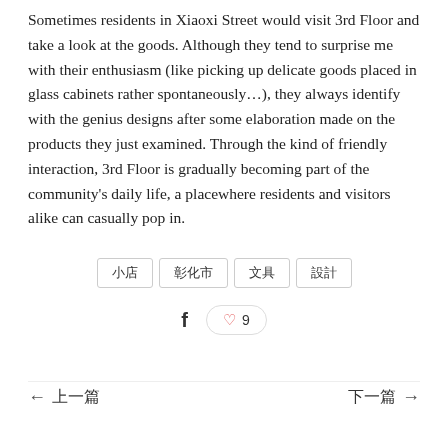Sometimes residents in Xiaoxi Street would visit 3rd Floor and take a look at the goods. Although they tend to surprise me with their enthusiasm (like picking up delicate goods placed in glass cabinets rather spontaneously…), they always identify with the genius designs after some elaboration made on the products they just examined. Through the kind of friendly interaction, 3rd Floor is gradually becoming part of the community's daily life, a placewhere residents and visitors alike can casually pop in.
小店
彰化市
文具
設計
← 上一篇    下一篇 →